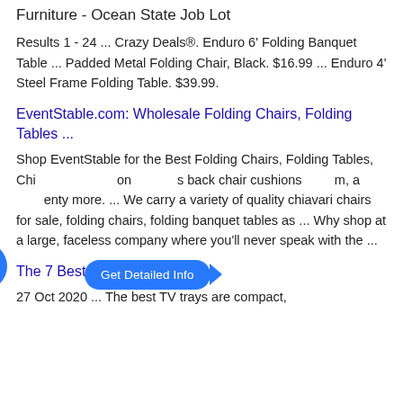Furniture - Ocean State Job Lot
Results 1 - 24 ... Crazy Deals®. Enduro 6' Folding Banquet Table ... Padded Metal Folding Chair, Black. $16.99 ... Enduro 4' Steel Frame Folding Table. $39.99.
EventStable.com: Wholesale Folding Chairs, Folding Tables ...
Shop EventStable for the Best Folding Chairs, Folding Tables, Chi[avari chairs], on[e piece] back chair cushions[,], [and] m, a[nd] [twen]ty more. ... We carry a variety of quality chiavari chairs for sale, folding chairs, folding banquet tables as ... Why shop at a large, faceless company where you'll never speak with the ...
[Figure (other): Blue 'Get Detailed Info' pill button with arrow and blue circular mail icon overlay on search results]
The 7 Best TV Trays of 2021
27 Oct 2020 ... The best TV trays are compact,